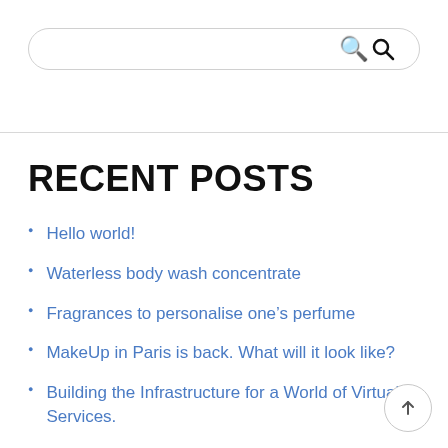[Figure (other): Search bar with rounded pill shape and magnifying glass icon on the right]
RECENT POSTS
Hello world!
Waterless body wash concentrate
Fragrances to personalise one's perfume
MakeUp in Paris is back. What will it look like?
Building the Infrastructure for a World of Virtual Services.